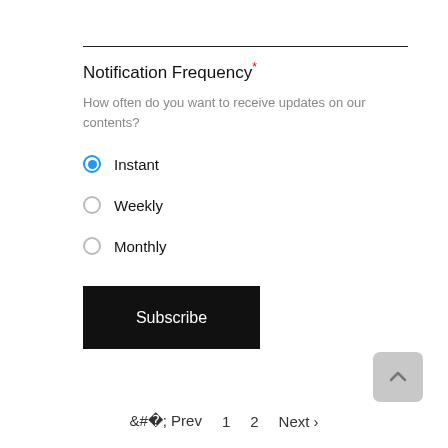Notification Frequency*
How often do you want to receive updates on our contents?
Instant (selected)
Weekly
Monthly
Subscribe
‹ Prev   1   2   Next ›